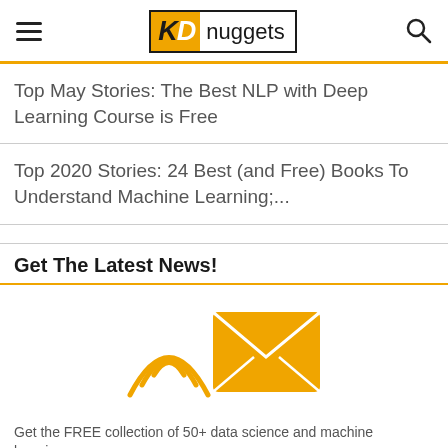KD nuggets
Top May Stories: The Best NLP with Deep Learning Course is Free
Top 2020 Stories: 24 Best (and Free) Books To Understand Machine Learning;...
Get The Latest News!
[Figure (illustration): Email newsletter icon: stylized wifi/signal waves with an envelope/letter in orange color]
Get the FREE collection of 50+ data science and machine learning...